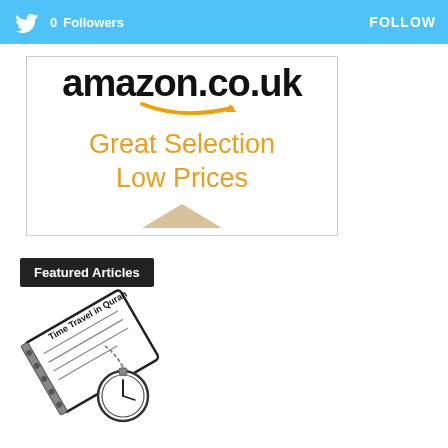0 Followers  FOLLOW
[Figure (logo): Amazon.co.uk advertisement banner: 'Great Selection Low Prices']
Featured Articles
[Figure (illustration): Illustration of a book/notebook titled 'Time Travel in Quran' with a pocket watch]